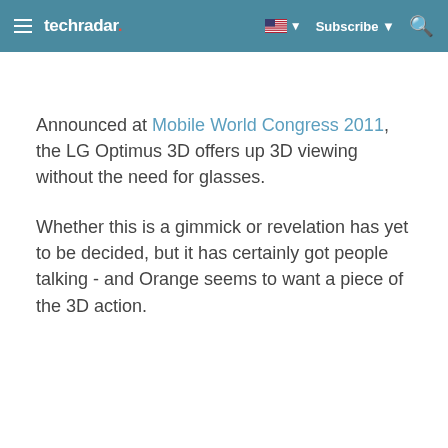techradar | Subscribe | Search
Announced at Mobile World Congress 2011, the LG Optimus 3D offers up 3D viewing without the need for glasses.
Whether this is a gimmick or revelation has yet to be decided, but it has certainly got people talking - and Orange seems to want a piece of the 3D action.